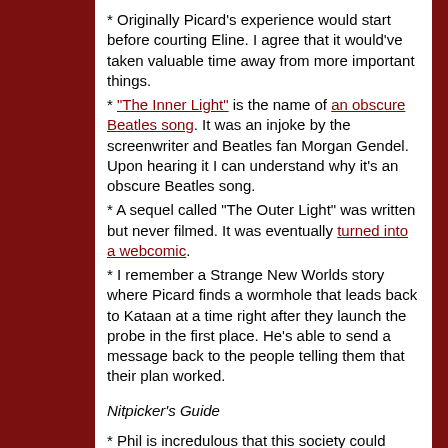* Originally Picard's experience would start before courting Eline. I agree that it would've taken valuable time away from more important things.
* "The Inner Light" is the name of an obscure Beatles song. It was an injoke by the screenwriter and Beatles fan Morgan Gendel. Upon hearing it I can understand why it's an obscure Beatles song.
* A sequel called "The Outer Light" was written but never filmed. It was eventually turned into a webcomic.
* I remember a Strange New Worlds story where Picard finds a wormhole that leads back to Kataan at a time right after they launch the probe in the first place. He's able to send a message back to the people telling them that their plan worked.
Nitpicker's Guide
* Phil is incredulous that this society could create a spaceworthy probe, much less memory-imprinting technology. The fans say that a society can be advanced in some areas but not others. Phil doesn't buy it. At best he thinks that the Kataanians deliberately created a pastoral, nostalgia-bait version of their culture for the probe.
* How do they know the planet is named Kataan?
* Picard's porch light would render his telescope unusable.
* This time Phil does the stardate conversion. "Time's Arrow" is five days after this episode, how did Picard recover so fast?
* Only twenty minutes have elapsed, and somehow Beverly